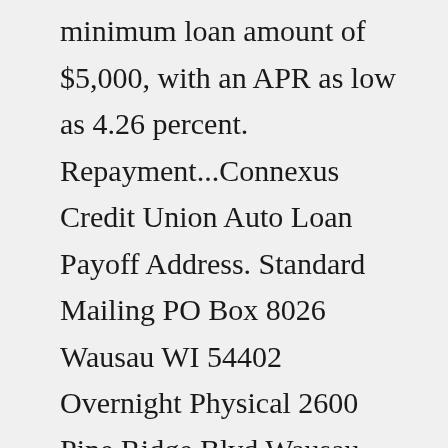minimum loan amount of $5,000, with an APR as low as 4.26 percent. Repayment...Connexus Credit Union Auto Loan Payoff Address. Standard Mailing PO Box 8026 Wausau WI 54402 Overnight Physical 2600 Pine Ridge Blvd Wausau WI 54401 Mail checks payable to: Connexus Credit Union.Call 800.845.5025 Your car. For less. Love your car, but not what it costs you? We can help! When you bring your auto loan to Connexus from your current